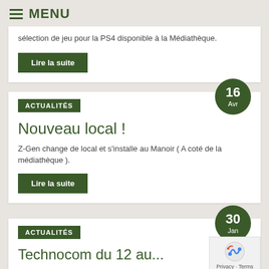MENU
sélection de jeu pour la PS4 disponible à la Médiathèque.
Lire la suite
ACTUALITÉS
Nouveau local !
Z-Gen change de local et s'installe au Manoir ( A coté de la médiathèque ).
Lire la suite
ACTUALITÉS
Technocom du 12 au...